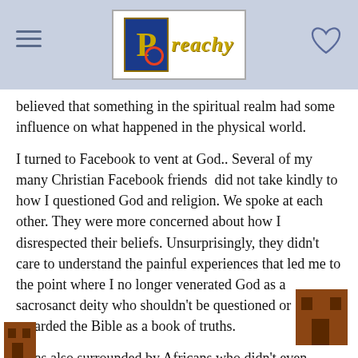Preachy
believed that something in the spiritual realm had some influence on what happened in the physical world.
I turned to Facebook to vent at God.. Several of my many Christian Facebook friends  did not take kindly to how I questioned God and religion. We spoke at each other. They were more concerned about how I disrespected their beliefs. Unsurprisingly, they didn't care to understand the painful experiences that led me to the point where I no longer venerated God as a sacrosanct deity who shouldn't be questioned or regarded the Bible as a book of truths.
I was also surrounded by Africans who didn't even believe in the existence of a deity. Some of them practiced African Traditional Religion. These Black folks provided a space for me to let out some steam by